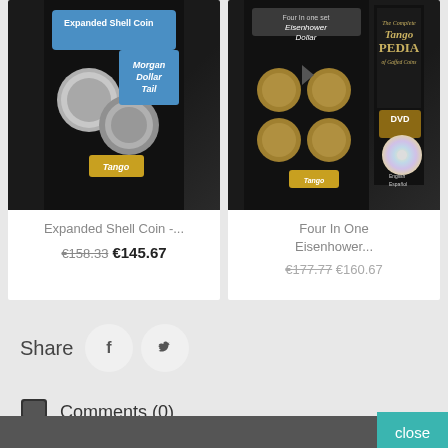[Figure (photo): Product image of Expanded Shell Coin – Morgan Dollar Tail by Tango Magic, showing coin packaging on black background]
Expanded Shell Coin -...
€158.33 €145.67
[Figure (photo): Product image of Four In One Eisenhower Dollar set by Tango Magic with DVD/TangoPedia, showing coin packaging on black background]
Four In One Eisenhower...
€177.77 €160.67 (partially visible)
Share
[Figure (logo): Facebook icon in circle]
[Figure (logo): Twitter/X bird icon in circle]
Comments (0)
close